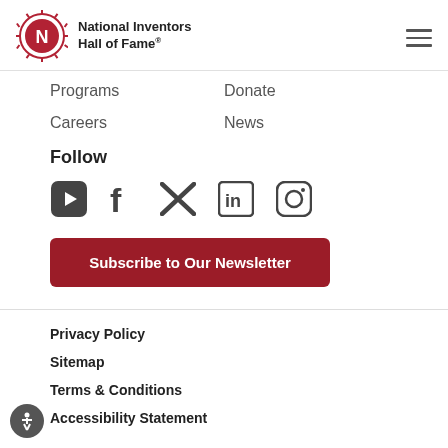National Inventors Hall of Fame®
Programs
Donate
Careers
News
Follow
[Figure (illustration): Social media icons: YouTube, Facebook, Twitter, LinkedIn, Instagram]
Subscribe to Our Newsletter
Privacy Policy
Sitemap
Terms & Conditions
Accessibility Statement